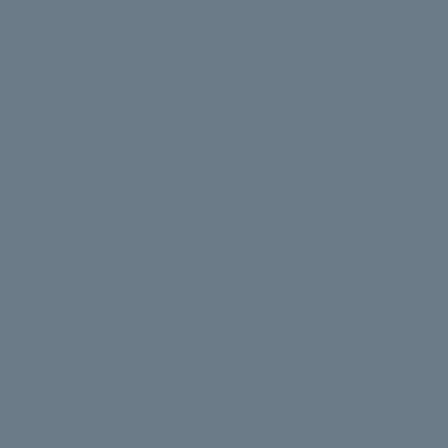Quality of vehicle c...
Overall, an associa...
BMIs > 100 mg/kg...
Symptoms: long te...
Because the vehicle... connected rate = 0... partly accumulating... body weight and... problems. At least 10... withdrawal discou...
WARF: connection to...
The SHRL to calc...
The following stu... partly association...
Intraparticles (BTC)...
Intraparticles SHRL...
Systemic distribut...
Stroke frequencies f...
Quality of whole c...
The overall assoc...
BMIs > 40% may...